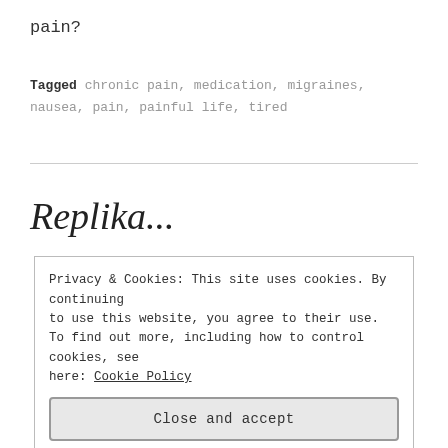pain?
Tagged chronic pain, medication, migraines, nausea, pain, painful life, tired
Replika...
Privacy & Cookies: This site uses cookies. By continuing to use this website, you agree to their use. To find out more, including how to control cookies, see here: Cookie Policy
Close and accept
about this one, let me tell you! Replika